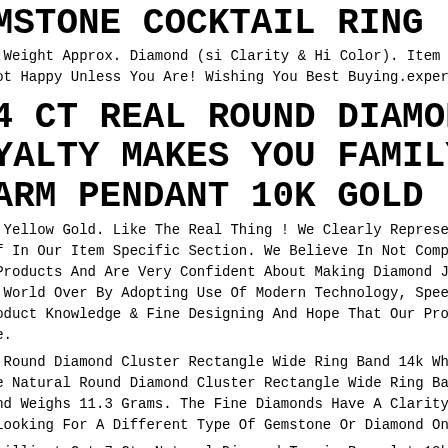EMSTONE COCKTAIL RING
ond Weight Approx. Diamond (si Clarity & Hi Color). Item Code Cn-24662c(14k). e Not Happy Unless You Are! Wishing You Best Buying.experience. Item Specifics
84 CT REAL ROUND DIAMOND OYALTY MAKES YOU FAMILY MENS HARM PENDANT 10K GOLD
10k Yellow Gold. Like The Real Thing ! We Clearly Represent What The Item Is e Of In Our Item Specific Section. We Believe In Not Compromising On The Quali ur Products And Are Very Confident About Making Diamond Jewelry Affordable T ses World Over By Adopting Use Of Modern Technology, Speed Of Execution, Product Knowledge & Fine Designing And Hope That Our Products Reach Far Wide.
ral Round Diamond Cluster Rectangle Wide Ring Band 14k White Gold 1.71ct. Th Fine Natural Round Diamond Cluster Rectangle Wide Ring Band. It Has A Ctw Of t And Weighs 11.3 Grams. The Fine Diamonds Have A Clarity Of Si1 And F Color. ou Looking For A Different Type Of Gemstone Or Diamond On Your Piece.
d Brilliant Cut 7 Ct. Natural Diamond Tennis Bracelet 12k Yellow Gold 7 Inch. ond Type - Natural. Want To Add A Personal Touch To This Piece. Cut - Excellent Carat Weight - 7.00 Carat.